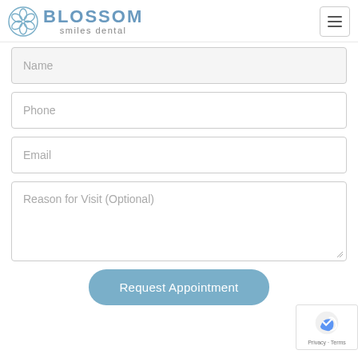BLOSSOM smiles dental
Name
Phone
Email
Reason for Visit (Optional)
Request Appointment
[Figure (logo): reCAPTCHA badge with Privacy and Terms links]